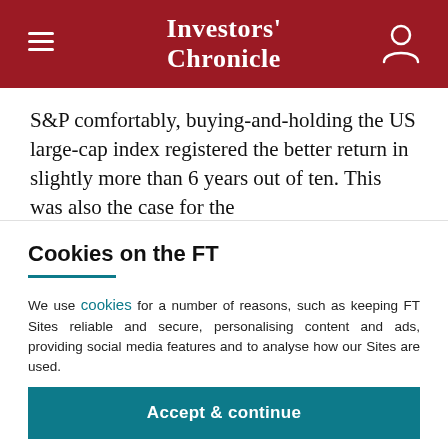Investors' Chronicle
S&P comfortably, buying-and-holding the US large-cap index registered the better return in slightly more than 6 years out of ten. This was also the case for the
Cookies on the FT
We use cookies for a number of reasons, such as keeping FT Sites reliable and secure, personalising content and ads, providing social media features and to analyse how our Sites are used.
Manage cookies
Accept & continue